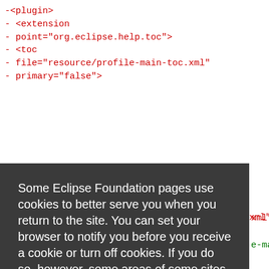-<plugin>
-    <extension
-           point="org.eclipse.help.toc">
-        <toc
-               file="resource/profile-main-toc.xml"
-               primary="false">
Some Eclipse Foundation pages use cookies to better serve you when you return to the site. You can set your browser to notify you before you receive a cookie or turn off cookies. If you do so, however, some areas of some sites may not function properly. To read Eclipse Foundation Privacy Policy click here.
Decline | Allow cookies
+ <toc